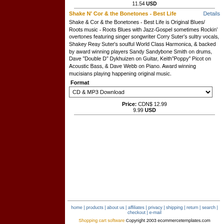11.54 USD
Shake N' Cor & the Bonetones - Best Life
Details
Shake & Cor & the Bonetones - Best Life is Original Blues/ Roots music - Roots Blues with Jazz-Gospel sometimes Rockin' overtones featuring singer songwriter Corry Suter's sultry vocals, Shakey Reay Suter's soulful World Class Harmonica, & backed by award winning players Sandy Sandybone Smith on drums, Dave "Double D" Dykhuizen on Guitar, Keith"Poppy" Picot on Acoustic Bass, & Dave Webb on Piano. Award winning mucisians playing happening original music.
Format
CD & MP3 Download
Price: CDN$ 12.99
9.99 USD
home | products | about us | affiliates | privacy | shipping | return | search | checkout | e-mail
Shopping cart software Copyright 2003 ecommercetemplates.com